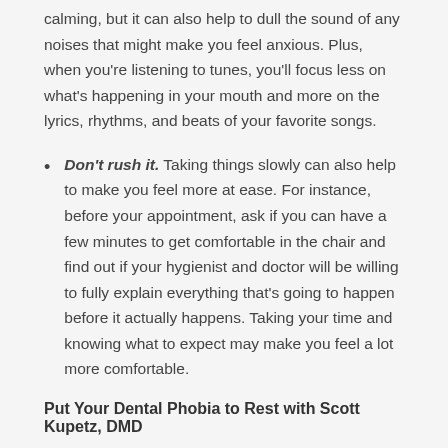calming, but it can also help to dull the sound of any noises that might make you feel anxious. Plus, when you're listening to tunes, you'll focus less on what's happening in your mouth and more on the lyrics, rhythms, and beats of your favorite songs.
Don't rush it. Taking things slowly can also help to make you feel more at ease. For instance, before your appointment, ask if you can have a few minutes to get comfortable in the chair and find out if your hygienist and doctor will be willing to fully explain everything that's going to happen before it actually happens. Taking your time and knowing what to expect may make you feel a lot more comfortable.
Put Your Dental Phobia to Rest with Scott Kupetz, DMD
Putting off going to the dentist because you're afraid isn't the solution to dental phobia; doing so will only make matters worse in the long run. Dr Kupetz, DMD can help to put your fears at ease! He and his highly trained and experienced staff will ensure you are...